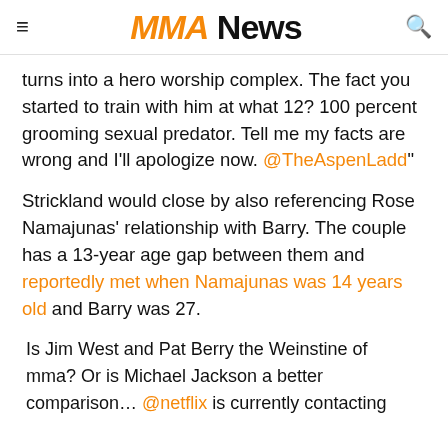MMA NEWS
turns into a hero worship complex. The fact you started to train with him at what 12? 100 percent grooming sexual predator. Tell me my facts are wrong and I'll apologize now. @TheAspenLadd"
Strickland would close by also referencing Rose Namajunas' relationship with Barry. The couple has a 13-year age gap between them and reportedly met when Namajunas was 14 years old and Barry was 27.
Is Jim West and Pat Berry the Weinstine of mma? Or is Michael Jackson a better comparison… @netflix is currently contacting